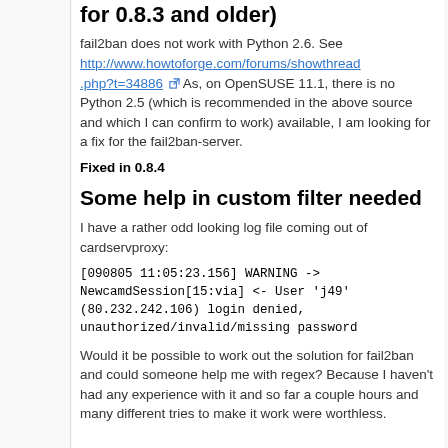for 0.8.3 and older)
fail2ban does not work with Python 2.6. See http://www.howtoforge.com/forums/showthread.php?t=34886 As, on OpenSUSE 11.1, there is no Python 2.5 (which is recommended in the above source and which I can confirm to work) available, I am looking for a fix for the fail2ban-server.
Fixed in 0.8.4
Some help in custom filter needed
I have a rather odd looking log file coming out of cardservproxy:
[090805 11:05:23.156] WARNING -> NewcamdSession[15:via] <- User 'j49' (80.232.242.106) login denied, unauthorized/invalid/missing password
Would it be possible to work out the solution for fail2ban and could someone help me with regex? Because I haven't had any experience with it and so far a couple hours and many different tries to make it work were worthless.